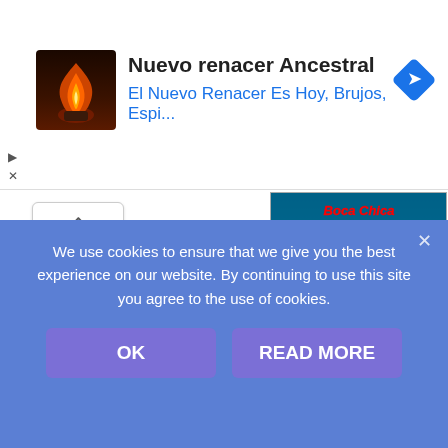[Figure (screenshot): Advertisement banner for 'Nuevo renacer Ancestral' with a candle flame image on dark background, title text, subtitle in blue, and a blue diamond navigation icon on the right]
[Figure (photo): Aerial/coastal view of a beach resort area labeled 'Boca Chica' with turquoise water, white hotel buildings, palm trees, and a 'Click for more info' call-to-action in red text at the bottom]
IF YOU FIND MY WEB SITE HELPFUL PLEASE CONSIDER A
We use cookies to ensure that we give you the best experience on our website. By continuing to use this site you agree to the use of cookies.